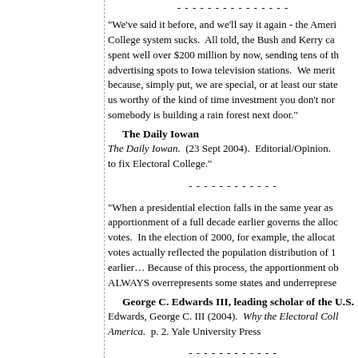---------------
"We've said it before, and we'll say it again - the American Electoral College system sucks.  All told, the Bush and Kerry campaigns have spent well over $200 million by now, sending tens of thousands of advertising spots to Iowa television stations.  We merit this attention because, simply put, we are special, or at least our state is, making us worthy of the kind of time investment you don't normally get unless somebody is building a rain forest next door."
The Daily Iowan
The Daily Iowan.  (23 Sept 2004).  Editorial/Opinion.  to fix Electoral College."
-------------
"When a presidential election falls in the same year as a census, the apportionment of a full decade earlier governs the allocation of electoral votes.  In the election of 2000, for example, the allocation of electoral votes actually reflected the population distribution of 1990, a full decade earlier… Because of this process, the apportionment of electoral votes ALWAYS overrepresents some states and underrepresents others."
George C. Edwards III
Edwards, George C. III (2004).  Why the Electoral College is Bad for America.  p. 2. Yale University Press
-------------
"The Gallup Poll reported in 2001, 'There is little ques...